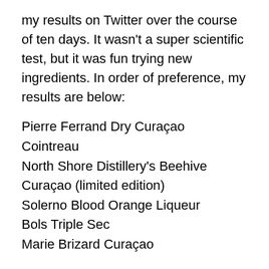my results on Twitter over the course of ten days. It wasn't a super scientific test, but it was fun trying new ingredients. In order of preference, my results are below:
Pierre Ferrand Dry Curaçao
Cointreau
North Shore Distillery's Beehive Curaçao (limited edition)
Solerno Blood Orange Liqueur
Bols Triple Sec
Marie Brizard Curaçao
For all of the test cocktails, I used Costco gin, and the same amount of lime juice, bitters, and orange liqueur. The Pierre Ferrand made a complex and delicious cocktail that wasn't too sweet. Cointreau was slightly sweeter and brighter. (Honestly, I will probably choose Cointreau in the summer…it was really refreshing.) The North Shore was